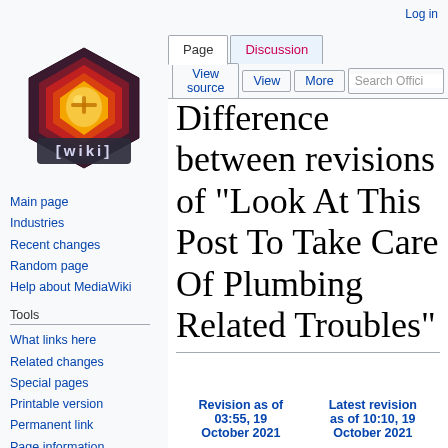Log in
[Figure (logo): Wiki logo: hexagonal orange/red gem with wiki text badge]
Main page
Industries
Recent changes
Random page
Help about MediaWiki
Tools
What links here
Related changes
Special pages
Printable version
Permanent link
Page information
Difference between revisions of "Look At This Post To Take Care Of Plumbing Related Troubles"
| Revision as of 03:55, 19 October 2021 | Latest revision as of 10:10, 19 October 2021 |
| --- | --- |